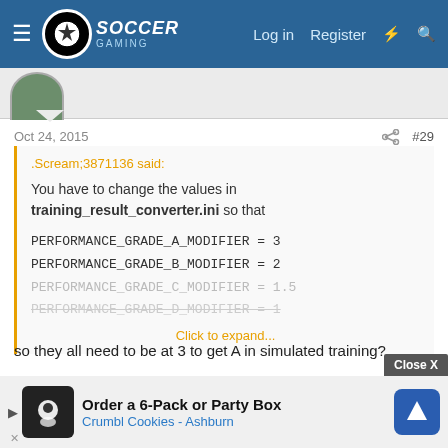Soccer Gaming — Log in  Register
.Scream;3871136 said:
You have to change the values in training_result_converter.ini so that

PERFORMANCE_GRADE_A_MODIFIER = 3
PERFORMANCE_GRADE_B_MODIFIER = 2
PERFORMANCE_GRADE_C_MODIFIER = 1.5
PERFORMANCE_GRADE_D_MODIFIER = 1
Click to expand...
so they all need to be at 3 to get A in simulated training?
[Figure (screenshot): Advertisement: Order a 6-Pack or Party Box — Crumbl Cookies - Ashburn]